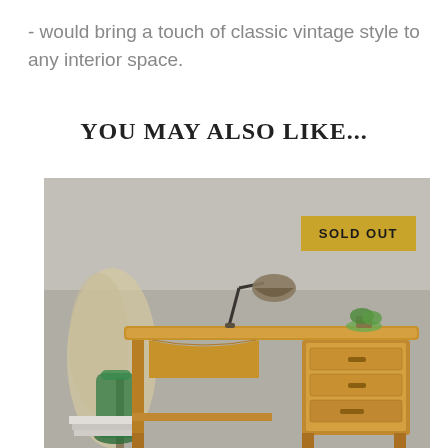- would bring a touch of classic vintage style to any interior space.
YOU MAY ALSO LIKE...
[Figure (photo): Vintage wooden desk with three drawers on the right side, a small metal lamp on top, a green glass vase with dried pampas grass beside it, and a small potted plant. Background is a grey concrete wall. A 'SOLD OUT' badge is overlaid in the top right of the image.]